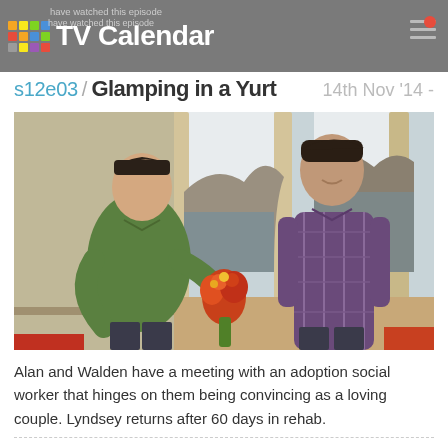TV Calendar — have watched this episode
s12e03 / Glamping in a Yurt — 14th Nov '14 -
[Figure (photo): Two men facing each other indoors; the man on the left wearing a green shirt holds a bouquet of red flowers toward the man on the right in a plaid shirt. A window with ocean cliffs in the background is visible.]
Alan and Walden have a meeting with an adoption social worker that hinges on them being convincing as a loving couple. Lyndsey returns after 60 days in rehab.